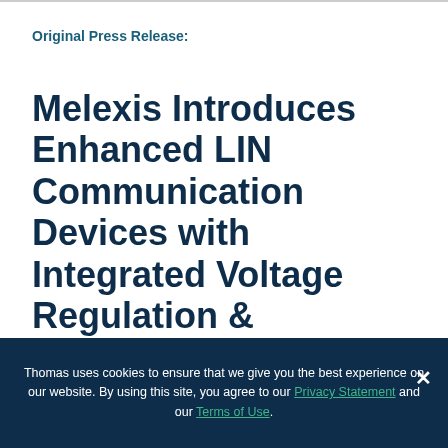Original Press Release:
Melexis Introduces Enhanced LIN Communication Devices with Integrated Voltage Regulation & Watchdog Functionality
Ieper, Belgium -- The local interconnect network (LIN) bus continues to see widespread adoption in the automotive
Thomas uses cookies to ensure that we give you the best experience on our website. By using this site, you agree to our Privacy Statement and our Terms of Use.